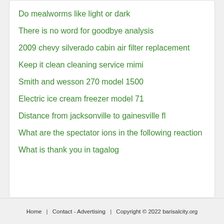Do mealworms like light or dark
There is no word for goodbye analysis
2009 chevy silverado cabin air filter replacement
Keep it clean cleaning service mimi
Smith and wesson 270 model 1500
Electric ice cream freezer model 71
Distance from jacksonville to gainesville fl
What are the spectator ions in the following reaction
What is thank you in tagalog
Home   Contact - Advertising   Copyright © 2022 barisalcity.org